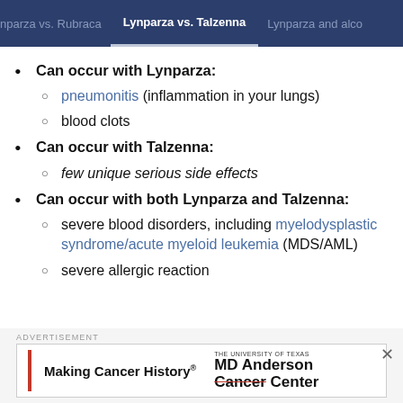nparza vs. Rubraca | Lynparza vs. Talzenna | Lynparza and alco
Can occur with Lynparza:
pneumonitis (inflammation in your lungs)
blood clots
Can occur with Talzenna:
few unique serious side effects
Can occur with both Lynparza and Talzenna:
severe blood disorders, including myelodysplastic syndrome/acute myeloid leukemia (MDS/AML)
severe allergic reaction
[Figure (other): MD Anderson Cancer Center advertisement banner with Making Cancer History tagline and red left bar]